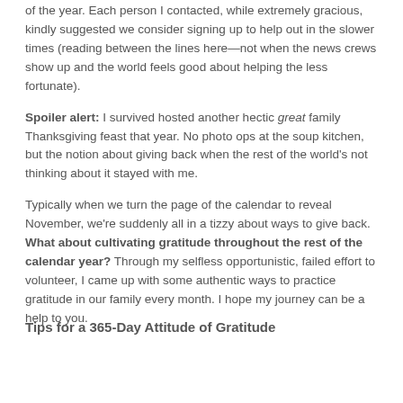of the year. Each person I contacted, while extremely gracious, kindly suggested we consider signing up to help out in the slower times (reading between the lines here—not when the news crews show up and the world feels good about helping the less fortunate).
Spoiler alert: I survived hosted another hectic great family Thanksgiving feast that year. No photo ops at the soup kitchen, but the notion about giving back when the rest of the world's not thinking about it stayed with me.
Typically when we turn the page of the calendar to reveal November, we're suddenly all in a tizzy about ways to give back. What about cultivating gratitude throughout the rest of the calendar year? Through my selfless opportunistic, failed effort to volunteer, I came up with some authentic ways to practice gratitude in our family every month. I hope my journey can be a help to you.
Tips for a 365-Day Attitude of Gratitude